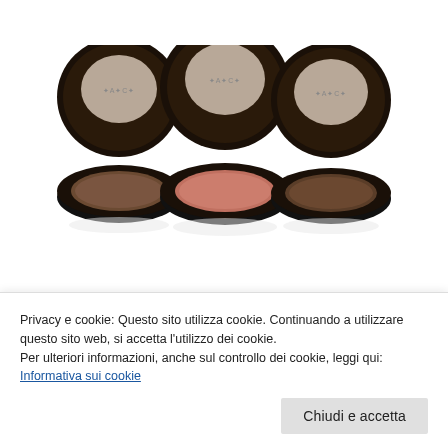[Figure (photo): Three MAC eyeshadow compacts open, showing brown, pink/rose, and dark brown shades, on a white background]
[Figure (photo): Partial view of three more MAC eyeshadow compacts (only lids visible, cropped at bottom)]
Privacy e cookie: Questo sito utilizza cookie. Continuando a utilizzare questo sito web, si accetta l'utilizzo dei cookie.
Per ulteriori informazioni, anche sul controllo dei cookie, leggi qui:
Informativa sui cookie
Chiudi e accetta